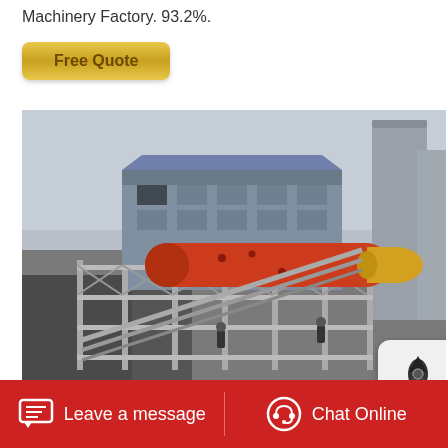Machinery Factory. 93.2%.
Free Quote
[Figure (photo): Industrial construction site showing a large red cylindrical ball mill or rotary drum mounted on scaffolding, with industrial buildings and silos in the background. Aerial/elevated view of heavy industrial machinery being installed.]
Leave a message   Chat Online